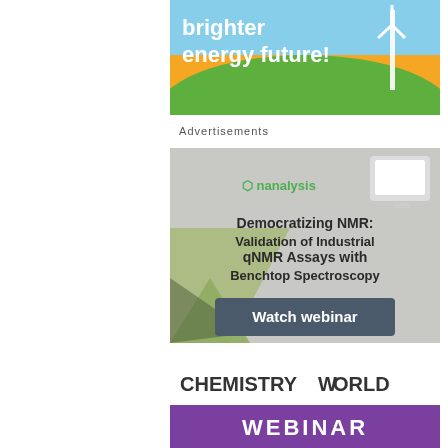[Figure (illustration): Advertisement banner with orange/green background showing wind turbine and text 'brighter energy future!']
Advertisements
[Figure (illustration): Nanalysis advertisement: 'Democratizing NMR: Validation of Industrial qNMR Assays with Benchtop Spectroscopy' with 'Watch webinar' button on green geometric background]
[Figure (illustration): Chemistry World Webinar advertisement banner with purple accent bar]